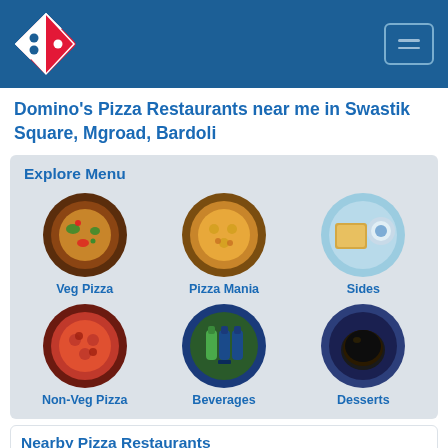[Figure (logo): Domino's Pizza logo - red and blue diamond shape with dots]
Domino’s Pizza Restaurants near me in Swastik Square, Mgroad, Bardoli
Explore Menu
[Figure (infographic): Menu grid with 6 circular food category images: Veg Pizza, Pizza Mania, Sides, Non-Veg Pizza, Beverages, Desserts]
Nearby Pizza Restaurants
LAKE VIEW POINT,BARD...